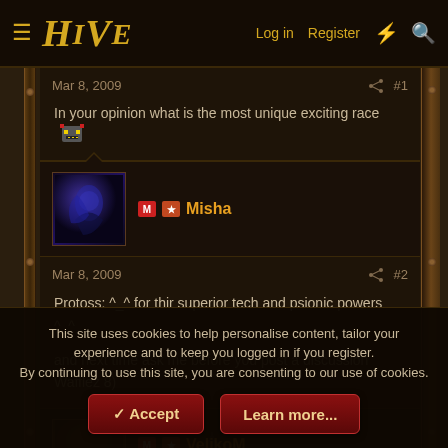HIVE | Log in | Register
Mar 8, 2009  #1
In your opinion what is the most unique exciting race [emoji]
Misha
Mar 8, 2009  #2
Protoss: ^_^ for thir superior tech and psionic powers ^_^

and next time ask me before you post a discussion Wafflez 8)
VelikoM
This site uses cookies to help personalise content, tailor your experience and to keep you logged in if you register.
By continuing to use this site, you are consenting to our use of cookies.
Accept | Learn more...